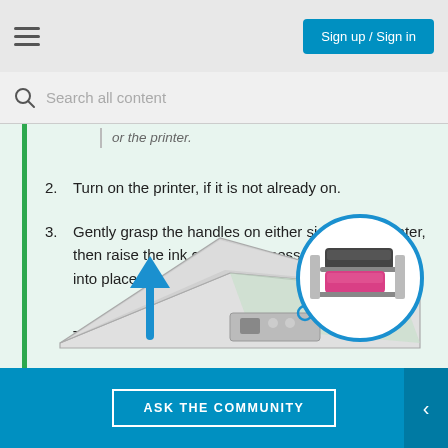Sign up / Sign in
Search all content
or the printer.
2. Turn on the printer, if it is not already on.
3. Gently grasp the handles on either side of the printer, then raise the ink cartridge access door until it locks into place.
The carriage moves to the center of the printer.
[Figure (illustration): Illustration of a printer with lid raised showing ink cartridge access door, with a blue arrow pointing upward and a circular callout showing ink cartridges (black and magenta) in the carriage.]
ASK THE COMMUNITY